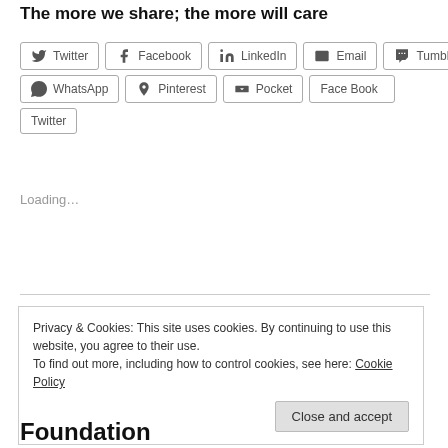The more we share; the more will care
[Figure (other): Social sharing buttons: Twitter, Facebook, LinkedIn, Email, Tumblr, WhatsApp, Pinterest, Pocket, Face Book, Twitter]
Loading...
March 25, 2013
Privacy & Cookies: This site uses cookies. By continuing to use this website, you agree to their use.
To find out more, including how to control cookies, see here: Cookie Policy
Foundation